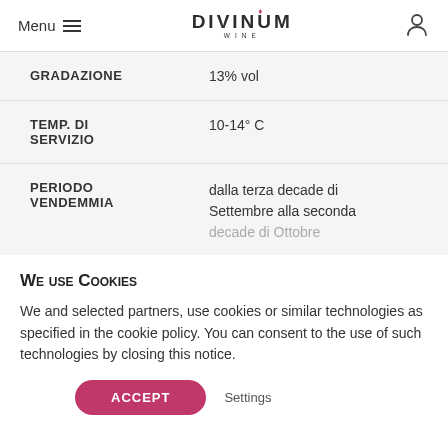Menu | DIVINUM WINE
| Label | Value |
| --- | --- |
| GRADAZIONE | 13% vol |
| TEMP. DI SERVIZIO | 10-14° C |
| PERIODO VENDEMMIA | dalla terza decade di Settembre alla seconda decade di Ottobre |
We use Cookies
We and selected partners, use cookies or similar technologies as specified in the cookie policy. You can consent to the use of such technologies by closing this notice.
ACCEPT | Settings